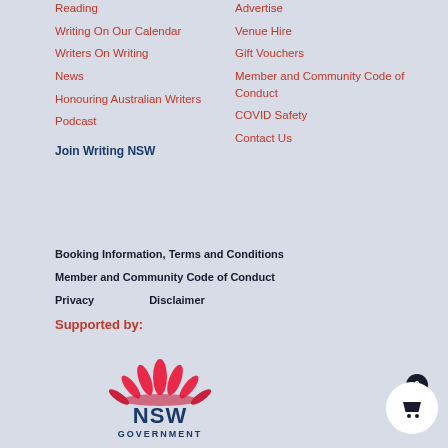Reading
Writing On Our Calendar
Writers On Writing
News
Honouring Australian Writers
Podcast
Advertise
Venue Hire
Gift Vouchers
Member and Community Code of Conduct
COVID Safety
Contact Us
Join Writing NSW
Booking Information, Terms and Conditions
Member and Community Code of Conduct
Privacy    Disclaimer
Supported by:
[Figure (logo): NSW Government logo with lotus flower emblem in red and dark blue text reading NSW GOVERNMENT]